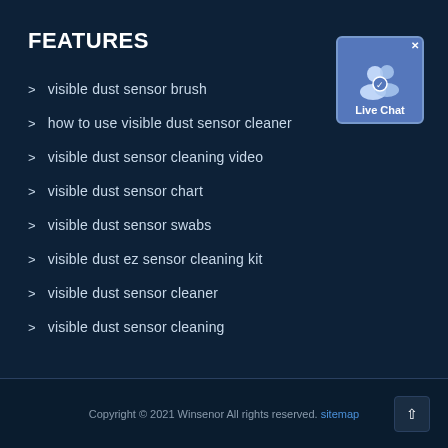FEATURES
> visible dust sensor brush
> how to use visible dust sensor cleaner
> visible dust sensor cleaning video
> visible dust sensor chart
> visible dust sensor swabs
> visible dust ez sensor cleaning kit
> visible dust sensor cleaner
> visible dust sensor cleaning
[Figure (other): Live Chat widget button with two person icons and a blue background]
Copyright © 2021 Winsenor All rights reserved. sitemap